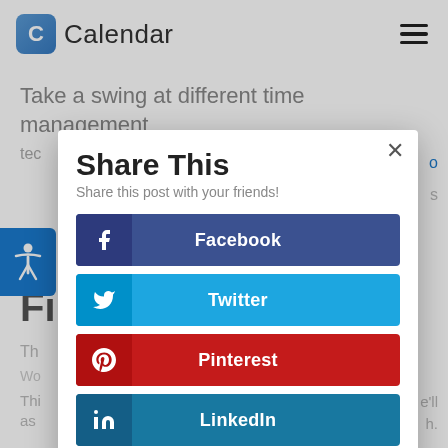[Figure (logo): Calendar app logo with blue rounded square icon containing letter C and text 'Calendar']
Take a swing at different time management tec
[Figure (screenshot): Share This modal dialog with social share buttons for Facebook, Twitter, Pinterest, and LinkedIn]
Fi
Th
Thi e'll as h.